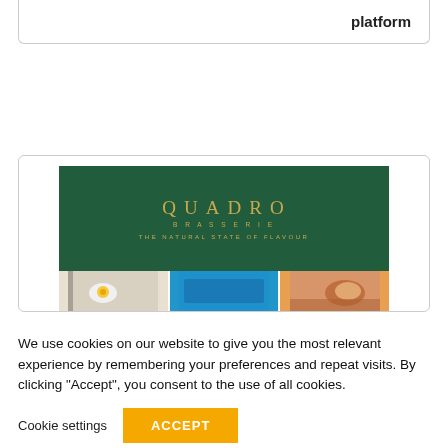platform
[Figure (screenshot): Quadro Brasserie website screenshot showing dark green banner with gold QUADRO BRASSERIE logo, tagline 'THE NATURAL STATE OF FLAVOUR', and food images below]
We use cookies on our website to give you the most relevant experience by remembering your preferences and repeat visits. By clicking “Accept”, you consent to the use of all cookies.
Cookie settings
ACCEPT
f  Twitter  in  WhatsApp